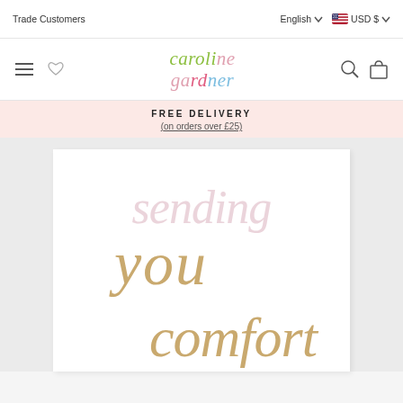Trade Customers | English USD $
[Figure (logo): Caroline Gardner logo - stylized text logo with multicolor letters]
FREE DELIVERY
(on orders over £25)
[Figure (photo): Greeting card with cursive text 'sending you comfort' in gold/beige script on white background]